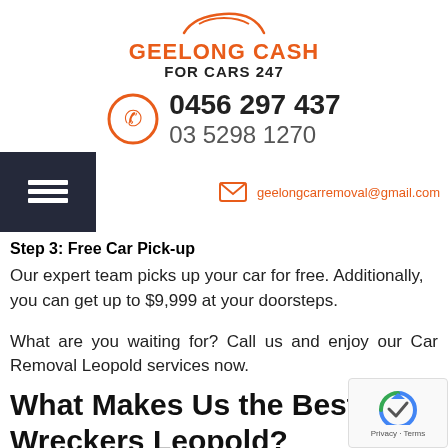[Figure (logo): Geelong Cash For Cars 247 logo with orange car silhouette arc above text]
[Figure (infographic): Orange phone/clock circle icon with phone numbers 0456 297 437 and 03 5298 1270]
[Figure (infographic): Dark hamburger menu icon on dark background, and envelope icon with email geelongcarremoval@gmail.com]
Step 3: Free Car Pick-up
Our expert team picks up your car for free. Additionally, you can get up to $9,999 at your doorsteps.
What are you waiting for? Call us and enjoy our Car Removal Leopold services now.
What Makes Us the Best Car Wreckers Leopold?